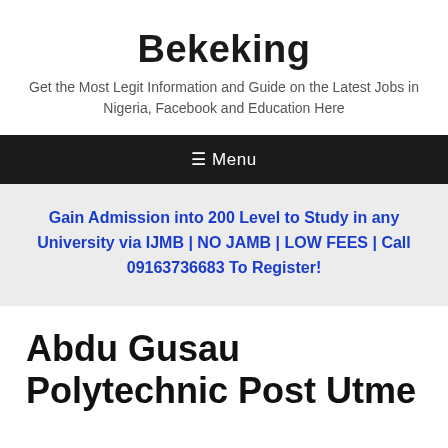Bekeking
Get the Most Legit Information and Guide on the Latest Jobs in Nigeria, Facebook and Education Here
≡ Menu
Gain Admission into 200 Level to Study in any University via IJMB | NO JAMB | LOW FEES | Call 09163736683 To Register!
Abdu Gusau Polytechnic Post Utme